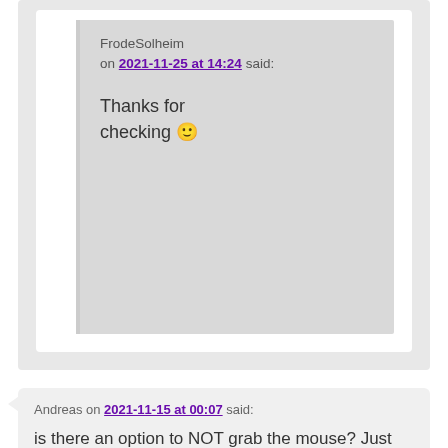FrodeSolheim on 2021-11-25 at 14:24 said:
Thanks for checking 🙂
Andreas on 2021-11-15 at 00:07 said:
is there an option to NOT grab the mouse? Just use the Linux mouse pointer in the FS-UAE-